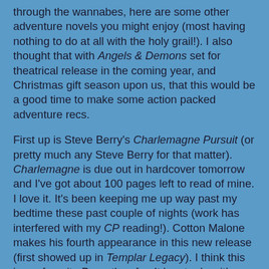through the wannabes, here are some other adventure novels you might enjoy (most having nothing to do at all with the holy grail!). I also thought that with Angels & Demons set for theatrical release in the coming year, and Christmas gift season upon us, that this would be a good time to make some action packed adventure recs.
First up is Steve Berry's Charlemagne Pursuit (or pretty much any Steve Berry for that matter). Charlemagne is due out in hardcover tomorrow and I've got about 100 pages left to read of mine. I love it. It's been keeping me up way past my bedtime these past couple of nights (work has interfered with my CP reading!). Cotton Malone makes his fourth appearance in this new release (first showed up in Templar Legacy). I think this is my favorite Berry thus far. It has to do with a sort of Atlantis type lost society and expeditions to Antarctica - one that led to Malone's father's death - in search of said society. Super fun!
I would also recommend early Matt Reilly. I loved Ice Station, Temple, and Contest. They were about a possible space ship discovery in the Arctic, a meteorite that had the power to be